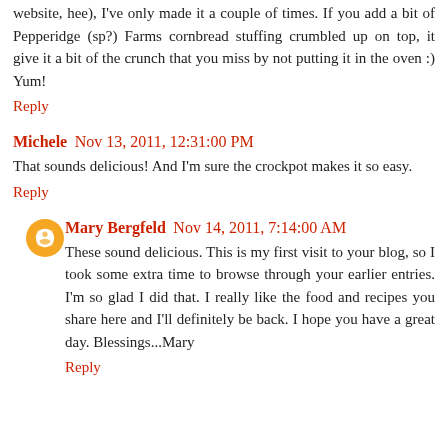website, hee), I've only made it a couple of times. If you add a bit of Pepperidge (sp?) Farms cornbread stuffing crumbled up on top, it give it a bit of the crunch that you miss by not putting it in the oven :) Yum!
Reply
Michele  Nov 13, 2011, 12:31:00 PM
That sounds delicious! And I'm sure the crockpot makes it so easy.
Reply
Mary Bergfeld  Nov 14, 2011, 7:14:00 AM
These sound delicious. This is my first visit to your blog, so I took some extra time to browse through your earlier entries. I'm so glad I did that. I really like the food and recipes you share here and I'll definitely be back. I hope you have a great day. Blessings...Mary
Reply